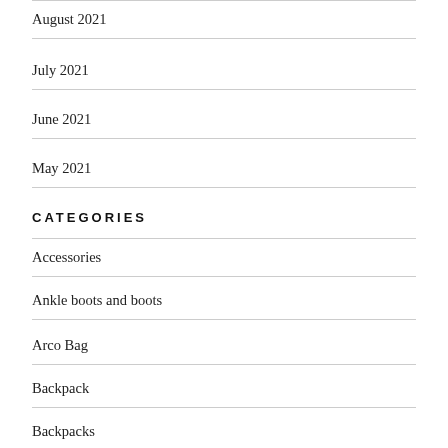August 2021
July 2021
June 2021
May 2021
CATEGORIES
Accessories
Ankle boots and boots
Arco Bag
Backpack
Backpacks